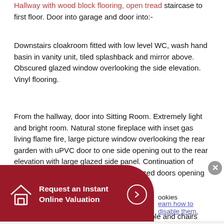Hallway with wood block flooring, open tread staircase to first floor. Door into garage and door into:-
Downstairs cloakroom fitted with low level WC, wash hand basin in vanity unit, tiled splashback and mirror above. Obscured glazed window overlooking the side elevation. Vinyl flooring.
From the hallway, door into Sitting Room. Extremely light and bright room. Natural stone fireplace with inset gas living flame fire, large picture window overlooking the rear garden with uPVC door to one side opening out to the rear elevation with large glazed side panel. Continuation of wood block flooring. Twin obscured glazed doors opening into the adjoining:-
Dining Room. Plenty of space for large table and chairs with pendant light fitting over, large picture window overlooking the rear elevation. Door to Hallway. Continuation of block wood flooring.
[Figure (infographic): Red banner overlay with house icon and text 'Request an Instant Online Valuation' with arrow circle button, and a cookie notice on the right with a close button.]